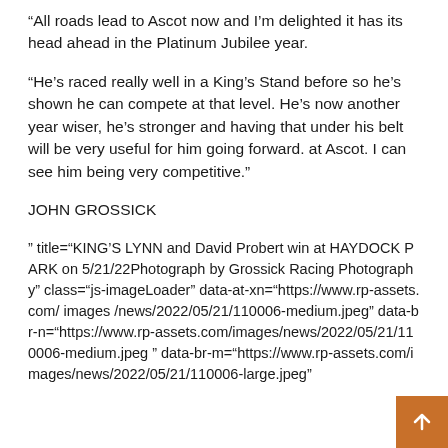“All roads lead to Ascot now and I’m delighted it has its head ahead in the Platinum Jubilee year.
“He’s raced really well in a King’s Stand before so he’s shown he can compete at that level. He’s now another year wiser, he’s stronger and having that under his belt will be very useful for him going forward. at Ascot. I can see him being very competitive.”
JOHN GROSSICK
” title=“KING’S LYNN and David Probert win at HAYDOCK PARK on 5/21/22Photograph by Grossick Racing Photography” class=“js-imageLoader” data-at-xn=“https://www.rp-assets.com/ images /news/2022/05/21/110006-medium.jpeg” data-br-n=“https://www.rp-assets.com/images/news/2022/05/21/110006-medium.jpeg ” data-br-m=“https://www.rp-assets.com/images/news/2022/05/21/110006-large.jpeg”